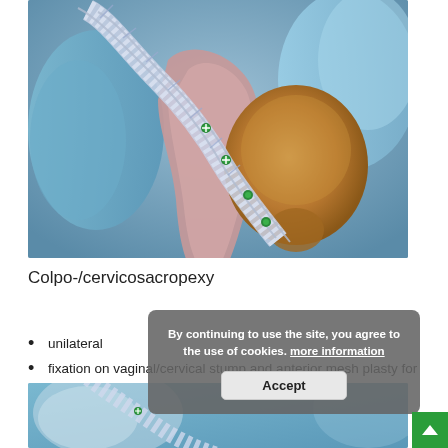[Figure (illustration): 3D medical illustration of colpo-/cervicosacropexy procedure showing a surgical mesh being used to support pelvic organs including the bladder (brown/orange), with blue anatomical structures and a white mesh/strap running diagonally with green fixation points.]
Colpo-/cervicosacropexy
unilateral
fixation on vaginal/cervical stump and anterior mesh plasty for concomitant cystocele
By continuing to use the site, you agree to the use of cookies. more information
Accept
[Figure (illustration): Bottom portion of a second medical illustration showing a similar pelvic anatomy with surgical mesh, blue anatomical structures visible.]